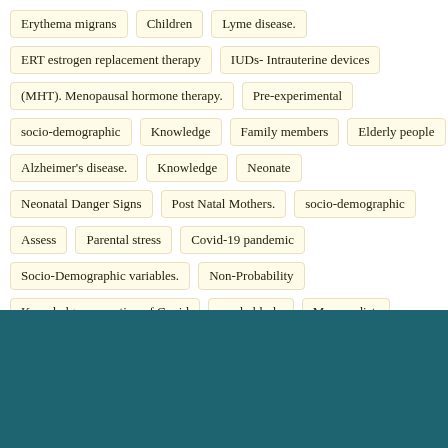Erythema migrans
Children
Lyme disease.
ERT estrogen replacement therapy
IUDs- Intrauterine devices
(MHT). Menopausal hormone therapy.
Pre-experimental
socio-demographic
Knowledge
Family members
Elderly people
Alzheimer's disease.
Knowledge
Neonate
Neonatal Danger Signs
Post Natal Mothers.
socio-demographic
Assess
Parental stress
Covid-19 pandemic
Socio-Demographic variables.
Non-Probability
Knowledge prevention of Covid
rural elderly
Mysuru dist.
self-structured
Compare
Psychosocial
Stress
Male and female adults.
non-probability
semi-structured
Assess
Problem faced
Lifestyle modification
Autism.